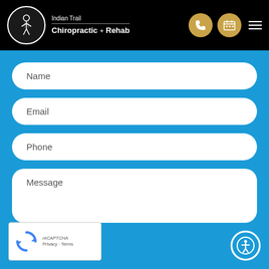[Figure (logo): Indian Trail Chiropractic + Rehab logo with stylized human spine figure in a circle, white on black header]
Name
Email
Phone
Message
[Figure (other): reCAPTCHA widget with recycling arrow icon and Privacy / Terms links]
[Figure (other): Accessibility icon button (person in circle) in bottom right corner]